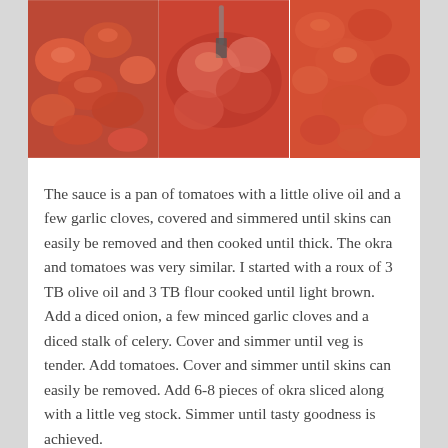[Figure (photo): Three food photos side by side showing tomatoes being prepared: quartered tomatoes, tomatoes in a pan, and crushed/sauce tomatoes.]
The sauce is a pan of tomatoes with a little olive oil and a few garlic cloves, covered and simmered until skins can easily be removed and then cooked until thick. The okra and tomatoes was very similar. I started with a roux of 3 TB olive oil and 3 TB flour cooked until light brown. Add a diced onion, a few minced garlic cloves and a diced stalk of celery. Cover and simmer until veg is tender. Add tomatoes. Cover and simmer until skins can easily be removed. Add 6-8 pieces of okra sliced along with a little veg stock. Simmer until tasty goodness is achieved.